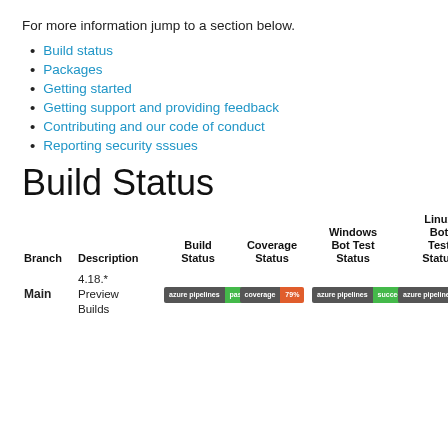For more information jump to a section below.
Build status
Packages
Getting started
Getting support and providing feedback
Contributing and our code of conduct
Reporting security sssues
Build Status
| Branch | Description | Build Status | Coverage Status | Windows Bot Test Status | Linux Bot Test Status |
| --- | --- | --- | --- | --- | --- |
| Main | 4.18.* Preview Builds | [azure pipelines badge: passing] | [coverage badge: 79%] | [azure pipelines badge: succeeded] | [azure pipelines badge: passing] |